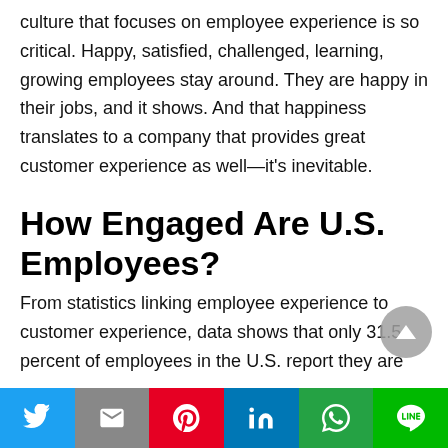culture that focuses on employee experience is so critical. Happy, satisfied, challenged, learning, growing employees stay around. They are happy in their jobs, and it shows. And that happiness translates to a company that provides great customer experience as well—it's inevitable.
How Engaged Are U.S. Employees?
From statistics linking employee experience to customer experience, data shows that only 31.5 percent of employees in the U.S. report they are